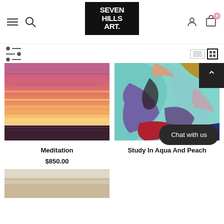Seven Hills Art — navigation header with logo, search, user, and cart icons
[Figure (screenshot): Seven Hills Art website header with hamburger menu, search, logo, user icon, and cart with badge showing 0]
[Figure (photo): Painting titled Meditation — a sunset landscape with vivid pink, orange, and red streaks across the sky over a dark horizon]
[Figure (photo): Painting titled Study In Aqua And Peach — abstract swirling composition in teal, purple, pink, red, and blue]
Meditation
$850.00
Study In Aqua And Peach
Chat with us
[Figure (photo): Partial view of a third artwork at the bottom of the page — beige and warm tones, partially visible]